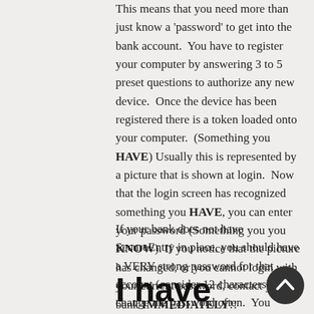This means that you need more than just know a 'password' to get into the bank account.  You have to register your computer by answering 3 to 5 preset questions to authorize any new device.  Once the device has been registered there is a token loaded onto your computer.  (Something you HAVE) Usually this is represented by a picture that is shown at login.  Now that the login screen has recognized something you HAVE, you can enter your password (Something you you KNOW). If you notice that the picture has changed, or you cannot login with your current password, contact your bank IMMEDIATELY!!
If your bank does not have SecureEntry in place, you should have a VERY strong password for that account (consider 12 characters) and change the password often.  You should request that service from the bank.
I have SO MANY online accounts?